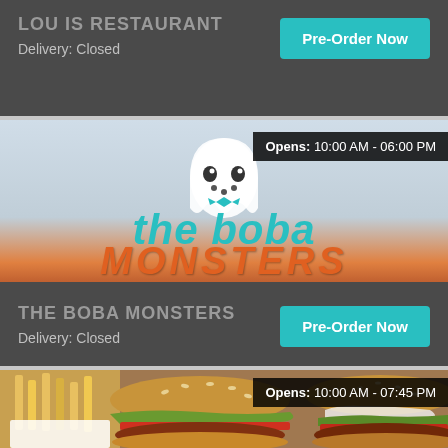LOUIS RESTAURANT
Delivery: Closed
Pre-Order Now
[Figure (screenshot): The Boba Monsters restaurant logo image showing a cartoon ghost/mascot character and the text 'the boba' in teal letters over orange text at bottom]
Opens: 10:00 AM - 06:00 PM
THE BOBA MONSTERS
Delivery: Closed
Pre-Order Now
[Figure (photo): Photo of hamburgers and french fries]
Opens: 10:00 AM - 07:45 PM